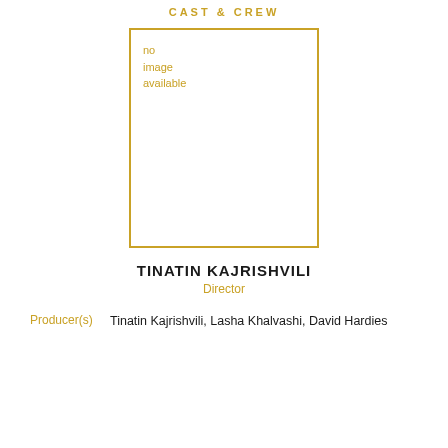CAST & CREW
[Figure (illustration): Placeholder image box with gold border and text 'no image available']
TINATIN KAJRISHVILI
Director
Producer(s)  Tinatin Kajrishvili, Lasha Khalvashi, David Hardies